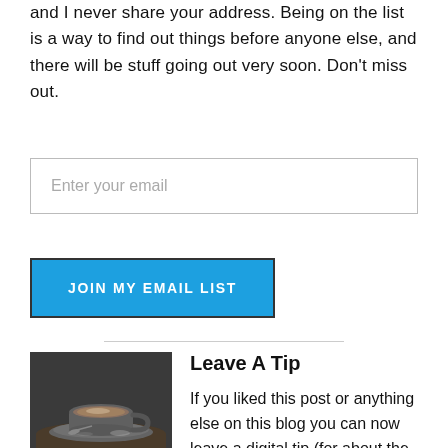and I never share your address. Being on the list is a way to find out things before anyone else, and there will be stuff going out very soon. Don't miss out.
Enter your email
JOIN MY EMAIL LIST
Leave A Tip
[Figure (photo): A grey ceramic coffee cup with saucer on a dark surface, photographed from an angle.]
If you liked this post or anything else on this blog you can now leave a digital tip (for about the